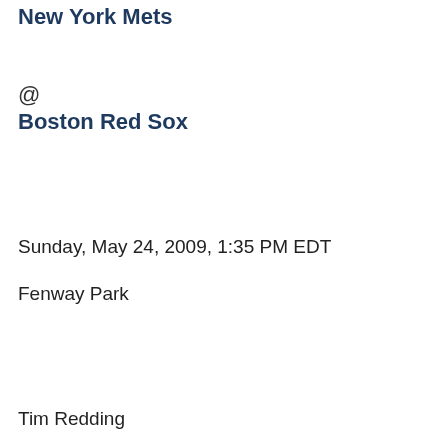New York Mets
@
Boston Red Sox
Sunday, May 24, 2009, 1:35 PM EDT
Fenway Park
Tim Redding